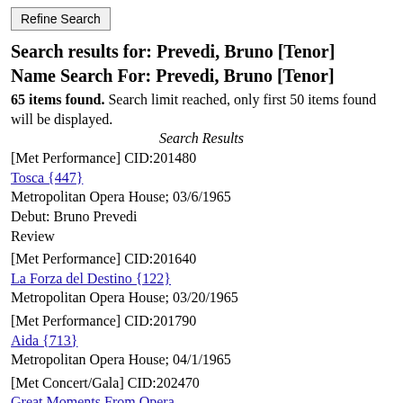Refine Search
Search results for: Prevedi, Bruno [Tenor]
Name Search For: Prevedi, Bruno [Tenor]
65 items found. Search limit reached, only first 50 items found will be displayed.
Search Results
[Met Performance] CID:201480
Tosca {447}
Metropolitan Opera House; 03/6/1965
Debut: Bruno Prevedi
Review
[Met Performance] CID:201640
La Forza del Destino {122}
Metropolitan Opera House; 03/20/1965
[Met Performance] CID:201790
Aida {713}
Metropolitan Opera House; 04/1/1965
[Met Concert/Gala] CID:202470
Great Moments From Opera
New York, Manhattan, Lewisohn Stadium; 06/23/1965